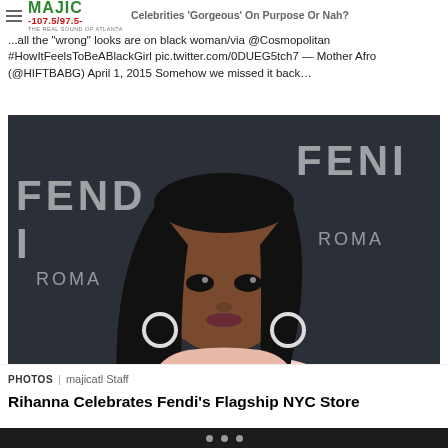Celebrities 'Gorgeous' On Purpose Or Nah?
[Figure (logo): Majic 107.5/97.5 radio station logo - green MAJIC text with red frequency numbers and tagline THE REAL SOUND OF ATLANTA]
...all the "wrong" looks are on black woman/via @Cosmopolitan #HowItFeelsToBeABlackGirl pic.twitter.com/0DUEG5tch7 — Mother Afro (@HIFTBABG) April 1, 2015 Somehow we missed it back…
[Figure (photo): Rihanna posing at a Fendi event in front of a dark backdrop with FENDI ROMA branding. She is wearing a light pink top, has long straight black hair, hoop earrings, and dramatic eye makeup.]
PHOTOS | majicatl Staff
Rihanna Celebrates Fendi's Flagship NYC Store